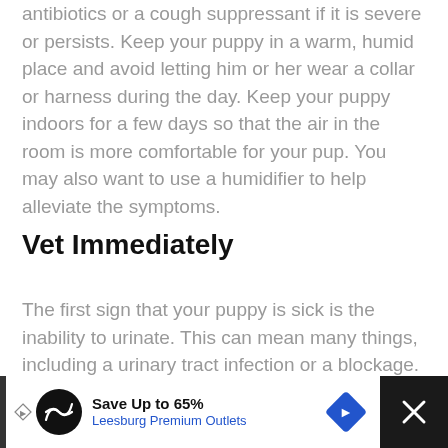antibiotics or a cough suppressant if it is severe or persists. Keep your puppy in a warm, humid place and avoid letting him or her wear a collar or harness during the day. Keep your puppy indoors for a few days so that the air in the room is more comfortable for your pup. You may also want to use a humidifier to help alleviate the symptoms.
Vet Immediately
The first sign that your puppy is sick is the inability to urinate. This can mean many things, including a urinary tract infection or a blockage. In addition, some pets drink excessively, which can also mean a urinary tract infection, bladder stones, or a more serious endocrine disorder. In most cases, a urinary
[Figure (infographic): Advertisement banner: Save Up to 65% Leesburg Premium Outlets with logo and navigation icon]